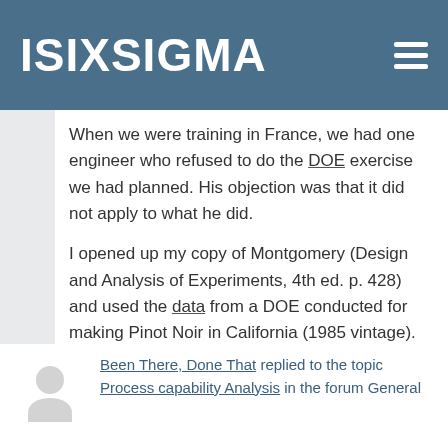ISIXSIGMA
When we were training in France, we had one engineer who refused to do the DOE exercise we had planned. His objection was that it did not apply to what he did. I opened up my copy of Montgomery (Design and Analysis of Experiments, 4th ed. p. 428) and used the data from a DOE conducted for making Pinot Noir in California (1985 vintage). The…
[Read more]
Been There, Done That replied to the topic Process capability Analysis in the forum General